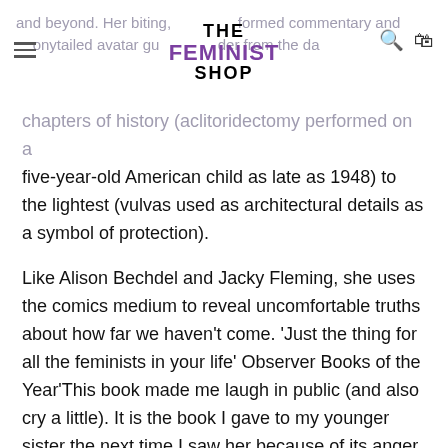THE FEMINIST SHOP
and beyond. Her biting, informed commentary and ponytailed avatar guide the reader from the darkest chapters of history (a clitoridectomy performed on a five-year-old American child as late as 1948) to the lightest (vulvas used as architectural details as a symbol of protection).
Like Alison Bechdel and Jacky Fleming, she uses the comics medium to reveal uncomfortable truths about how far we haven't come. 'Just the thing for all the feminists in your life' Observer Books of the Year'This book made me laugh in public (and also cry a little). It is the book I gave to my younger sister the next time I saw her because of its anger and brilliance and because it is an overwhelming source of knowledge about things we should all already know' Daisy Johnson, author of the Man Booker Prize-shortlisted Everything Under 'There are moments of genuine hilarity, as when Stroemquist pictures the